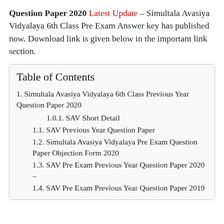Question Paper 2020 Latest Update – Simultala Avasiya Vidyalaya 6th Class Pre Exam Answer key has published now. Download link is given below in the important link section.
Table of Contents
1. Simultala Avasiya Vidyalaya 6th Class Previous Year Question Paper 2020
1.0.1. SAV Short Detail
1.1. SAV Previous Year Question Paper
1.2. Simultala Avasiya Vidyalaya Pre Exam Question Paper Objection Form 2020
1.3. SAV Pre Exam Previous Year Question Paper 2020 –
1.4. SAV Pre Exam Previous Year Question Paper 2019